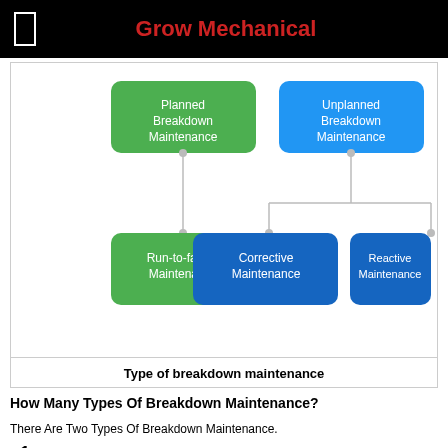Grow Mechanical
[Figure (flowchart): Flowchart showing types of breakdown maintenance. At top: Planned Breakdown Maintenance (green) and Unplanned Breakdown Maintenance (blue). Below Planned: Run-to-failure Maintenance (green). Below Unplanned: Corrective Maintenance (blue) and Reactive Maintenance (blue).]
Type of breakdown maintenance
How Many Types Of Breakdown Maintenance?
There Are Two Types Of Breakdown Maintenance.
Planned Breakdown Maintenance
Unplanned Breakdown Maintenance
Planned Breakdown Maintenance